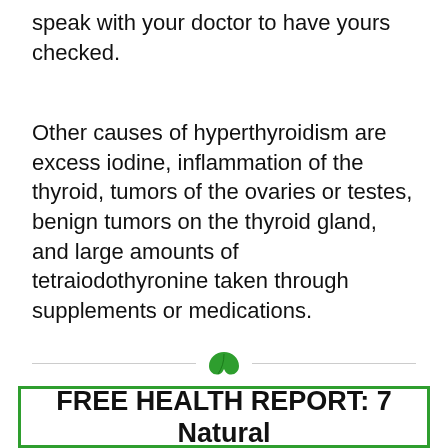speak with your doctor to have yours checked.
Other causes of hyperthyroidism are excess iodine, inflammation of the thyroid, tumors of the ovaries or testes, benign tumors on the thyroid gland, and large amounts of tetraiodothyronine taken through supplements or medications.
[Figure (illustration): Green leaf icon centered between two horizontal divider lines]
FREE HEALTH REPORT: 7 Natural